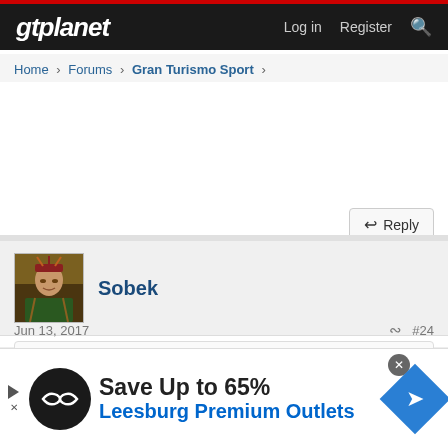gtplanet — Log in  Register  🔍
Home › Forums › Gran Turismo Sport ›
Reply
Sobek
Jun 13, 2017  #24
Theaffliction 💬
View attachment 653583 Can anyone tell what that sign says??
[Figure (infographic): Advertisement banner: Save Up to 65% Leesburg Premium Outlets with circular logo and navigation icon]